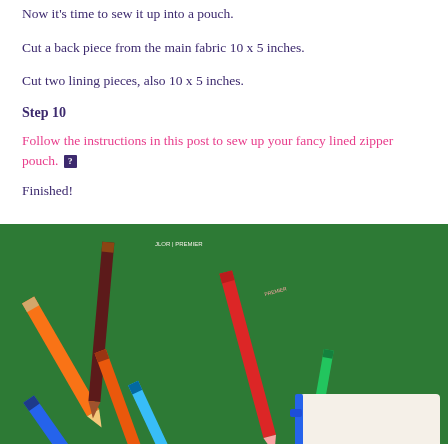Now it's time to sew it up into a pouch.
Cut a back piece from the main fabric 10 x 5 inches.
Cut two lining pieces, also 10 x 5 inches.
Step 10
Follow the instructions in this post to sew up your fancy lined zipper pouch. [?]
Finished!
[Figure (photo): Photo of colorful pencils scattered on a green surface next to a small fabric zipper pouch with a blue zipper]